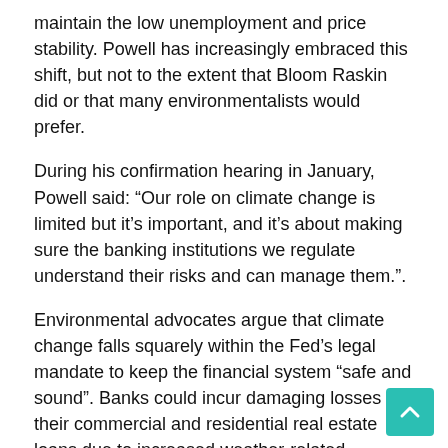maintain the low unemployment and price stability. Powell has increasingly embraced this shift, but not to the extent that Bloom Raskin did or that many environmentalists would prefer.
During his confirmation hearing in January, Powell said: “Our role on climate change is limited but it’s important, and it’s about making sure the banking institutions we regulate understand their risks and can manage them.”.
Environmental advocates argue that climate change falls squarely within the Fed’s legal mandate to keep the financial system “safe and sound”. Banks could incur damaging losses on their commercial and residential real estate loans due to increased weather-related damages. And if businesses and consumers move ever further away from fossil fuels, driving down the price of oil and gas, they say it could lead to losses on loans to oil and gas drillers.
Early last year, the Fed became the latest major central bank to join the Network for the Greening of the Financial System, an